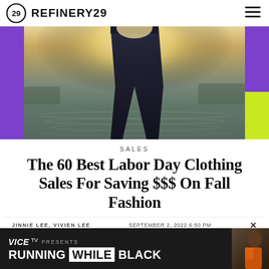REFINERY29
[Figure (photo): Person wearing dark jeans standing near a body of water with a sunset/backlit effect. Purple bars on left and right sides of image with yellow-green bar on bottom right.]
SALES
The 60 Best Labor Day Clothing Sales For Saving $$$ On Fall Fashion
JINNIE LEE, VIVIEN LEE    SEPTEMBER 2, 2022 6:50 PM
[Figure (screenshot): VICE TV Presents: RUNNING WHILE BLACK advertisement banner with dark background and person on right side.]